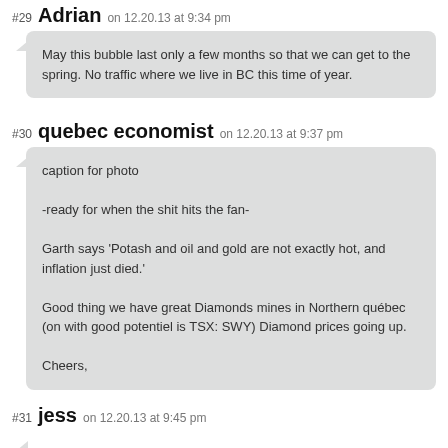#29 Adrian on 12.20.13 at 9:34 pm
May this bubble last only a few months so that we can get to the spring. No traffic where we live in BC this time of year.
#30 quebec economist on 12.20.13 at 9:37 pm
caption for photo

-ready for when the shit hits the fan-

Garth says ‘Potash and oil and gold are not exactly hot, and inflation just died.’

Good thing we have great Diamonds mines in Northern québec (on with good potentiel is TSX: SWY) Diamond prices going up.

Cheers,
#31 jess on 12.20.13 at 9:45 pm